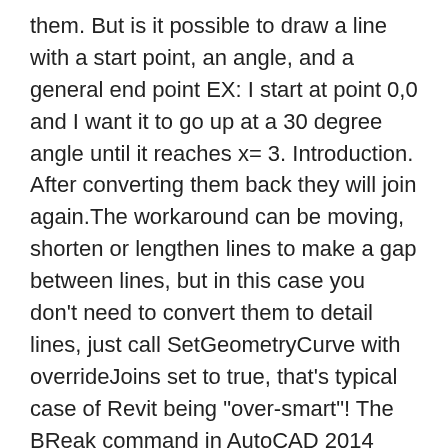them. But is it possible to draw a line with a start point, an angle, and a general end point EX: I start at point 0,0 and I want it to go up at a 30 degree angle until it reaches x= 3. Introduction. After converting them back they will join again.The workaround can be moving, shorten or lengthen lines to make a gap between lines, but in this case you don't need to convert them to detail lines, just call SetGeometryCurve with overrideJoins set to true, that's typical case of Revit being "over-smart"! The BReak command in AutoCAD 2014 creates gaps in lines, polylines, circles, arcs, or splines. Color, thickness and linetype are the main properties that can be changed. Now select all the hatches that you want to be … In AutoCAD you can join lines to object or you can explode an object to lines. © Copyright 2018 Autodesk Inc. All rights reserved, autodesk.fusion360.header.nav.label.product.name.